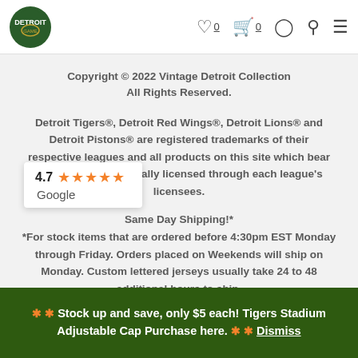Vintage Detroit Collection header with logo and nav icons
Copyright © 2022 Vintage Detroit Collection All Rights Reserved.
Detroit Tigers®, Detroit Red Wings®, Detroit Lions® and Detroit Pistons® are registered trademarks of their respective leagues and all products on this site which bear their marks are officially licensed through each league's licensees.
Same Day Shipping!* *For stock items that are ordered before 4:30pm EST Monday through Friday. Orders placed on Weekends will ship on Monday. Custom lettered jerseys usually take 24 to 48 additional hours to ship.
[Figure (other): Google rating badge showing 4.7 stars with orange star icons and Google label]
Vintage Detroit Collection • 44692 Helm Street • Plymouth, Michigan 48170
❊ ❊ Stock up and save, only $5 each! Tigers Stadium Adjustable Cap Purchase here. ❊ ❊ Dismiss